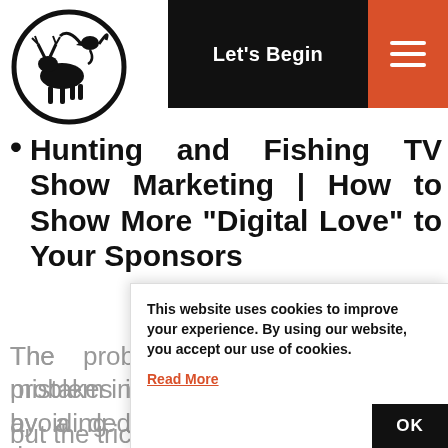[Figure (logo): Circular logo with silhouette of hunter/fisherman with moose and eagle, black and white]
Let's Begin
Hunting and Fishing TV Show Marketing | How to Show More “Digital Love” to Your Sponsors
The problem in avoiding these mistakes is it really does take work by a ded[icated person to make Sure you [are doing things right for the comp[any. Whether it's "in-house staff", or [... but the trick on the content of
This website uses cookies to improve your experience. By using our website, you accept our use of cookies. Read More OK